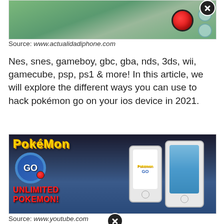[Figure (photo): A hand holding a smartphone playing Pokémon GO, with a Pokéball visible on screen, with a close/X button overlay in the top right]
Source: www.actualidadiphone.com
Nes, snes, gameboy, gbc, gba, nds, 3ds, wii, gamecube, psp, ps1 & more! In this article, we will explore the different ways you can use to hack pokémon go on your ios device in 2021.
[Figure (photo): Pokémon GO promotional image showing the Pokémon GO logo with 'UNLIMITED POKEMON!' text in red, alongside two iPhones displaying the Pokémon GO app]
Source: www.youtube.com